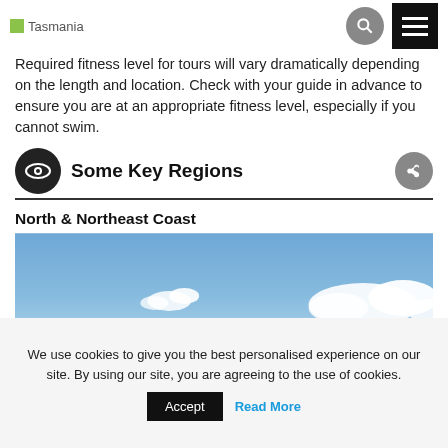Tasmania
Required fitness level for tours will vary dramatically depending on the length and location. Check with your guide in advance to ensure you are at an appropriate fitness level, especially if you cannot swim.
Some Key Regions
North & Northeast Coast
[Figure (photo): Blue sky with white clouds — coastal Tasmania landscape photo]
We use cookies to give you the best personalised experience on our site. By using our site, you are agreeing to the use of cookies. Accept Read More